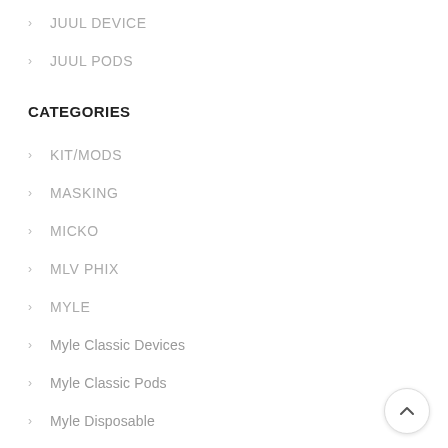JUUL DEVICE
JUUL PODS
CATEGORIES
KIT/MODS
MASKING
MICKO
MLV PHIX
MYLE
Myle Classic Devices
Myle Classic Pods
Myle Disposable
New Magnetic Device
New Magnetic Pods
POD/COILS & ACCESSORIES
POP